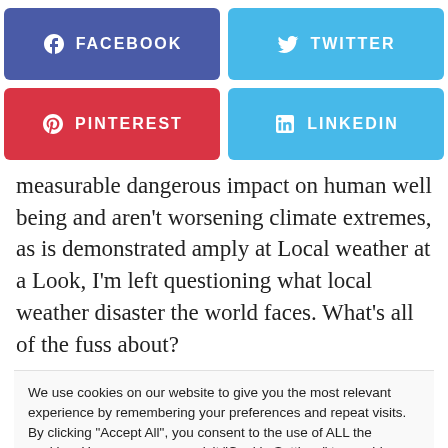[Figure (infographic): Social media share buttons: Facebook (blue-purple), Twitter (light blue), Pinterest (red), LinkedIn (light blue)]
measurable dangerous impact on human well being and aren't worsening climate extremes, as is demonstrated amply at Local weather at a Look, I'm left questioning what local weather disaster the world faces. What's all of the fuss about?
We use cookies on our website to give you the most relevant experience by remembering your preferences and repeat visits. By clicking "Accept All", you consent to the use of ALL the cookies. However, you may visit "Cookie Settings" to provide a controlled consent.
Cookie Settings | Accept All